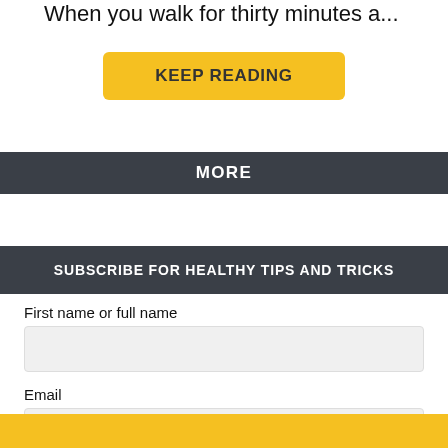When you walk for thirty minutes a...
KEEP READING
MORE
SUBSCRIBE FOR HEALTHY TIPS AND TRICKS
First name or full name
Email
By continuing, you accept the privacy policy